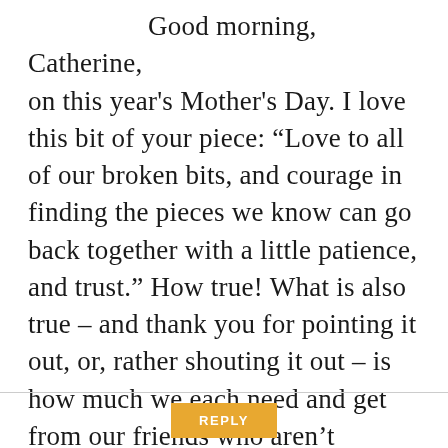Good morning, Catherine, on this year's Mother's Day. I love this bit of your piece: “Love to all of our broken bits, and courage in finding the pieces we know can go back together with a little patience, and trust.” How true! What is also true – and thank you for pointing it out, or, rather shouting it out – is how much we each need and get from our friends who aren’t mothers and fathers themselves, but play those roles in our lives.
REPLY